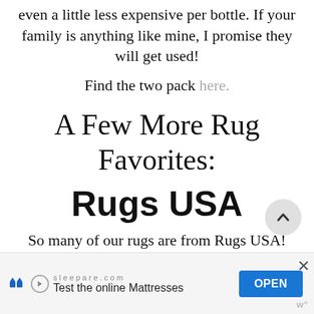even a little less expensive per bottle. If your family is anything like mine, I promise they will get used!
Find the two pack here.
A Few More Rug Favorites:
Rugs USA
So many of our rugs are from Rugs USA! I have ordered from their site for years and am always impressed with the quality and price! They currently have up to 70%
[Figure (other): Scroll-to-top circular button with upward chevron arrow]
sleepare.com Test the online Mattresses OPEN